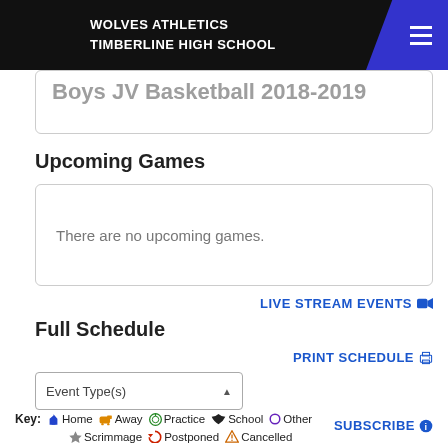WOLVES ATHLETICS TIMBERLINE HIGH SCHOOL
Boys JV Basketball 2018-2019
Upcoming Games
There are no upcoming games.
LIVE STREAM EVENTS 📹
Full Schedule
PRINT SCHEDULE 🖨
Event Type(s)
SUBSCRIBE ℹ
Key: 🏠 Home 🚌 Away ⏱ Practice 🎓 School ○ Other ★ Scrimmage 🔄 Postponed ⚠ Cancelled